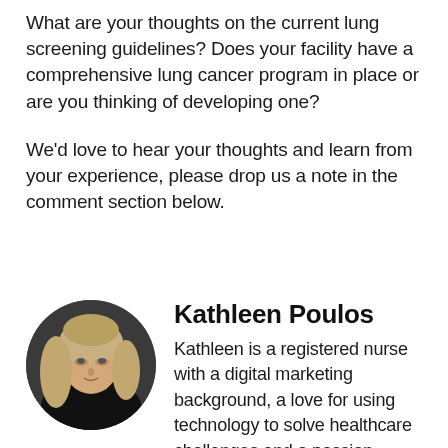What are your thoughts on the current lung screening guidelines? Does your facility have a comprehensive lung cancer program in place or are you thinking of developing one?
We'd love to hear your thoughts and learn from your experience, please drop us a note in the comment section below.
[Figure (photo): Circular portrait photo of Kathleen Poulos, a woman with long blonde hair wearing a black outfit, photographed against a dark background.]
Kathleen Poulos
Kathleen is a registered nurse with a digital marketing background, a love for using technology to solve healthcare challenges and a passion